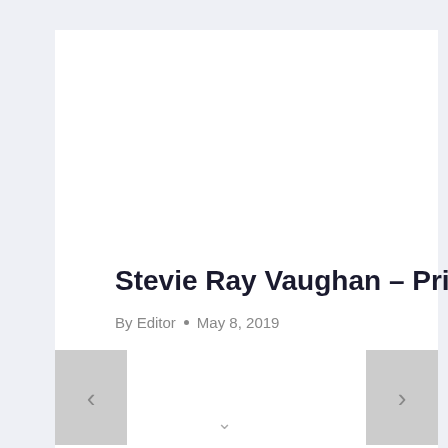Stevie Ray Vaughan – Pride And Joy
By Editor • May 8, 2019